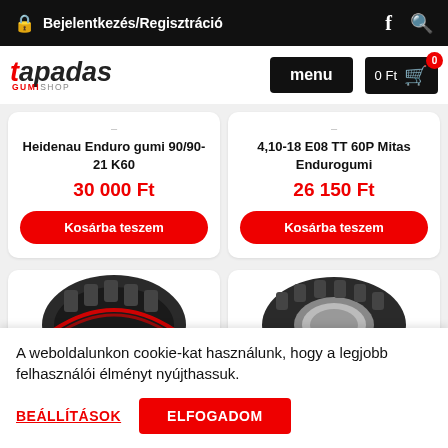Bejelentkezés/Regisztráció
[Figure (logo): Tapadas Gumishop logo with red 't' and black 'apadas', subtitle 'GUMISHOP']
menu
0 Ft
Heidenau Enduro gumi 90/90-21 K60
30 000 Ft
Kosárba teszem
4,10-18 E08 TT 60P Mitas Endurogumi
26 150 Ft
Kosárba teszem
[Figure (photo): Partial view of a tire tread with red sidewall markings]
[Figure (photo): Partial view of a tire tread]
A weboldalunkon cookie-kat használunk, hogy a legjobb felhasználói élményt nyújthassuk.
BEÁLLÍTÁSOK
ELFOGADOM